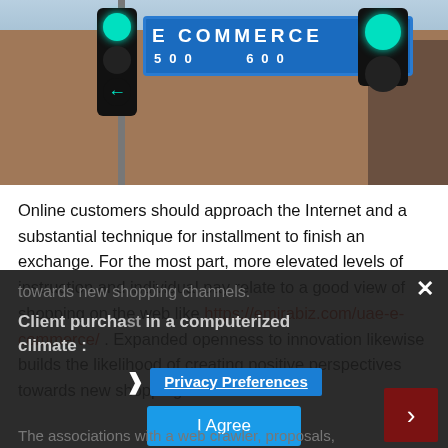[Figure (photo): Street photo showing traffic lights and a blue E COMMERCE street sign reading 500-600]
Online customers should approach the Internet and a substantial technique for installment to finish an exchange. For the most part, more elevated levels of instruction and individual pay relate to a good view of shopping on the web like https://emirabiz.com/uae-e-commerce/ . Expanded openness to innovation likewise builds the likelihood of creating positive perspectives towards new shopping channels.
Client purchase in a computerized climate:
The associations with a web crawler, proposals,